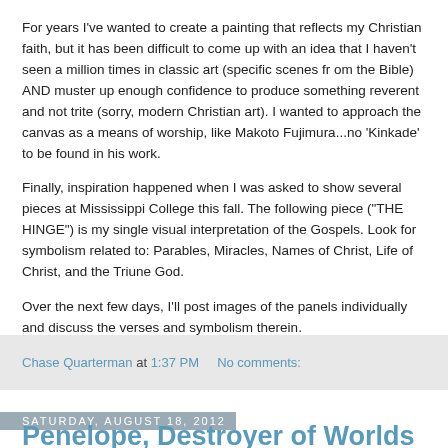For years I've wanted to create a painting that reflects my Christian faith, but it has been difficult to come up with an idea that I haven't seen a million times in classic art (specific scenes fr om the Bible) AND muster up enough confidence to produce something reverent and not trite (sorry, modern Christian art). I wanted to approach the canvas as a means of worship, like Makoto Fujimura...no 'Kinkade' to be found in his work.
Finally, inspiration happened when I was asked to show several pieces at Mississippi College this fall. The following piece ("THE HINGE") is my single visual interpretation of the Gospels. Look for symbolism related to: Parables, Miracles, Names of Christ, Life of Christ, and the Triune God.
Over the next few days, I'll post images of the panels individually and discuss the verses and symbolism therein.
Chase Quarterman at 1:37 PM    No comments:
Saturday, August 18, 2012
Penelope, Destroyer of Worlds